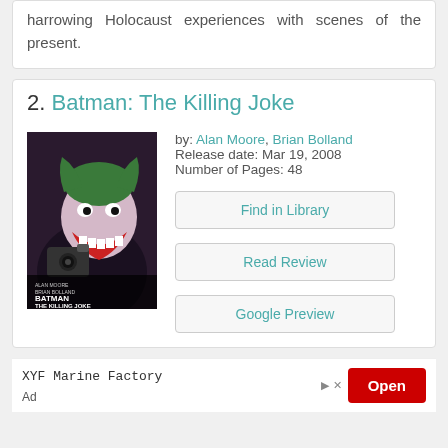harrowing Holocaust experiences with scenes of the present.
2. Batman: The Killing Joke
[Figure (illustration): Book cover of Batman: The Killing Joke showing the Joker holding a camera, laughing menacingly in purple and green tones]
by: Alan Moore, Brian Bolland
Release date: Mar 19, 2008
Number of Pages: 48
Find in Library
Read Review
Google Preview
XYF Marine Factory
Ad